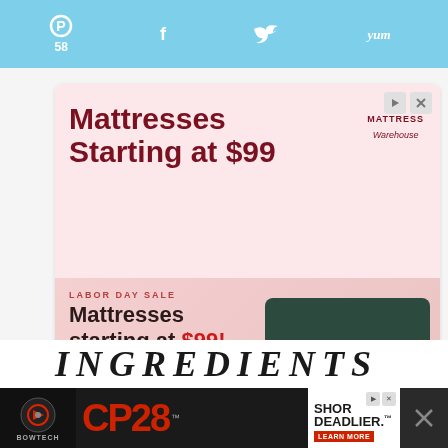[Figure (screenshot): Social sharing bar with Pinterest (58), Facebook, Twitter, and Yummly icons on a light blue background]
[Figure (screenshot): Mattress Warehouse advertisement banner. Top section pink background: 'Mattresses Starting at $99' in dark red, Mattress Warehouse logo. Bottom section: 'LABOR DAY SALE' label, 'Mattresses starting at $99!' text, bed image, dot pattern, dark maroon 'Shop Now' button with arrow. Two overlay control buttons (play and close).]
[Figure (screenshot): Teal heart/favorite button and grey share button on right side]
INGREDIENTS
[Figure (screenshot): Bottom advertisement bar: Bowtech logo, CP28 brand name in red on dark background, 'SHOR DEADLIER.' text with LEARN MORE button, close X button]